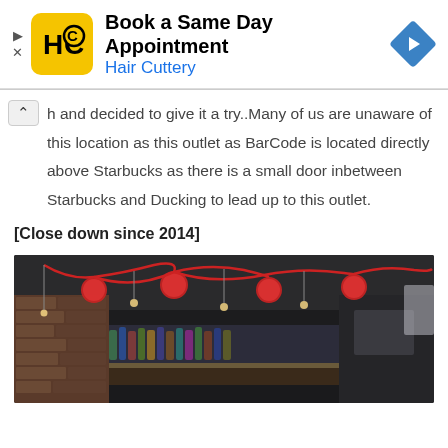[Figure (screenshot): Hair Cuttery advertisement banner: yellow logo with HC initials, text 'Book a Same Day Appointment / Hair Cuttery', blue navigation arrow icon on right, play and close controls on far left]
h and decided to give it a try..Many of us are unaware of this location as this outlet as BarCode is located directly above Starbucks as there is a small door inbetween Starbucks and Ducking to lead up to this outlet.
[Close down since 2014]
[Figure (photo): Interior of BarCode restaurant/bar showing dark ceiling with decorative red round paper lanterns and curving red wires/lights, bar area with bottles visible in background, brick wall on left]